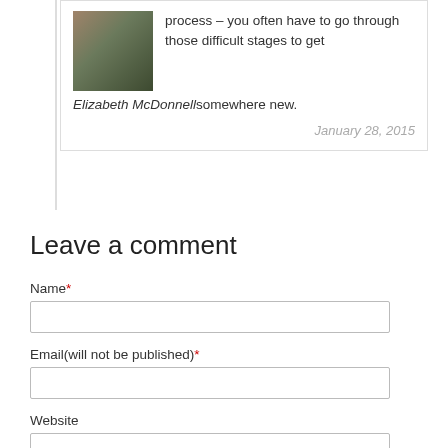process – you often have to go through those difficult stages to get somewhere new.
Elizabeth McDonnell
January 28, 2015
Leave a comment
Name*
Email(will not be published)*
Website
Your comment*